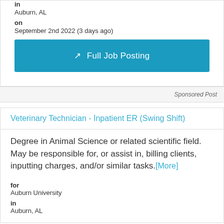in
Auburn, AL
on
September 2nd 2022 (3 days ago)
Full Job Posting
Sponsored Post
Veterinary Technician - Inpatient ER (Swing Shift)
Degree in Animal Science or related scientific field. May be responsible for, or assist in, billing clients, inputting charges, and/or similar tasks.[More]
for
Auburn University
in
Auburn, AL